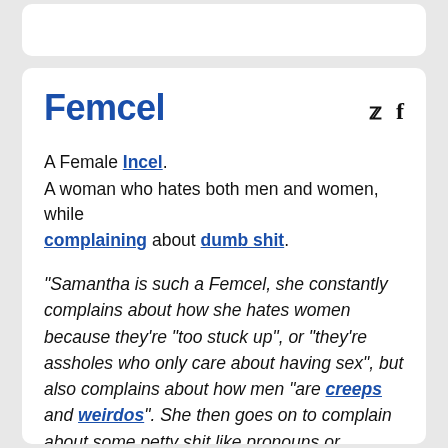Femcel
A Female Incel.
A woman who hates both men and women, while complaining about dumb shit.
"Samantha is such a Femcel, she constantly complains about how she hates women because they're "too stuck up", or "they're assholes who only care about having sex", but also complains about how men "are creeps and weirdos". She then goes on to complain about some petty shit like pronouns or sexualities. She's says she's